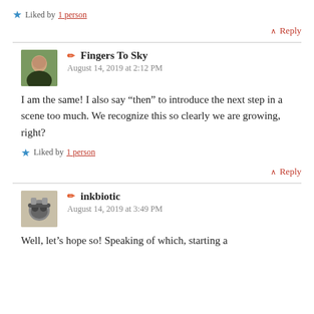Liked by 1 person
^ Reply
Fingers To Sky
August 14, 2019 at 2:12 PM
I am the same! I also say “then” to introduce the next step in a scene too much. We recognize this so clearly we are growing, right?
Liked by 1 person
^ Reply
inkbiotic
August 14, 2019 at 3:49 PM
Well, let’s hope so! Speaking of which, starting a